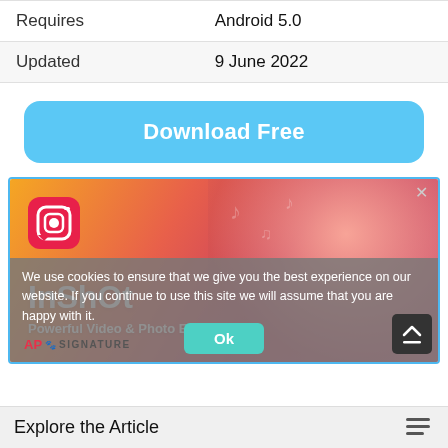| Requires | Android 5.0 |
| Updated | 9 June 2022 |
Download Free
[Figure (screenshot): InShot app banner — gradient orange-to-pink background with a woman smiling, InShot logo icon (pink rounded square with camera), large white text 'InShot' and subtitle 'Powerful Video & Photo Editor', AP Signature logo at bottom left]
We use cookies to ensure that we give you the best experience on our website. If you continue to use this site we will assume that you are happy with it.
Ok
Explore the Article